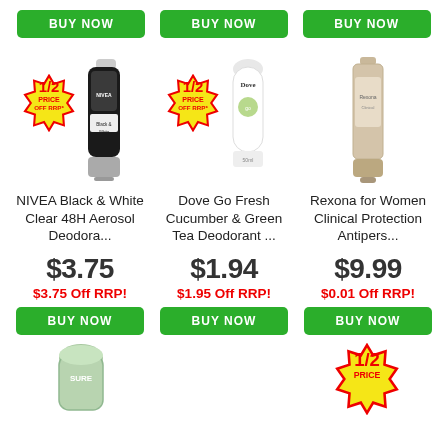[Figure (screenshot): Three BUY NOW green buttons at top row]
[Figure (photo): NIVEA Black & White product with half price badge]
NIVEA Black & White Clear 48H Aerosol Deodora...
$3.75
$3.75 Off RRP!
[Figure (other): BUY NOW button for NIVEA]
[Figure (photo): Dove Go Fresh Cucumber & Green Tea Deodorant with half price badge]
Dove Go Fresh Cucumber & Green Tea Deodorant ...
$1.94
$1.95 Off RRP!
[Figure (other): BUY NOW button for Dove]
[Figure (photo): Rexona for Women Clinical Protection product]
Rexona for Women Clinical Protection Antipers...
$9.99
$0.01 Off RRP!
[Figure (other): BUY NOW button for Rexona]
[Figure (photo): Green roll-on deodorant product preview at bottom left]
[Figure (photo): Half price badge at bottom right preview]